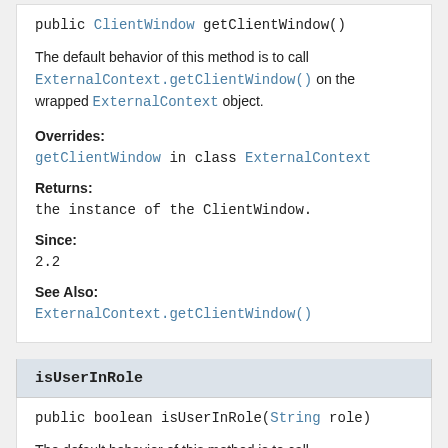public ClientWindow getClientWindow()
The default behavior of this method is to call ExternalContext.getClientWindow() on the wrapped ExternalContext object.
Overrides:
getClientWindow in class ExternalContext
Returns:
the instance of the ClientWindow.
Since:
2.2
See Also:
ExternalContext.getClientWindow()
isUserInRole
public boolean isUserInRole(String role)
The default behavior of this method is to call